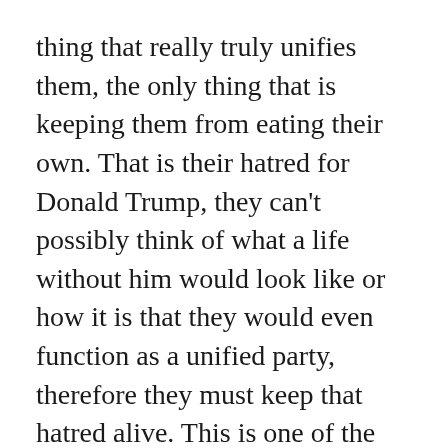thing that really truly unifies them, the only thing that is keeping them from eating their own. That is their hatred for Donald Trump, they can't possibly think of what a life without him would look like or how it is that they would even function as a unified party, therefore they must keep that hatred alive. This is one of the only reason's they pushed forward with the impeachment charges.
They are so absolutely afraid of what it is that Donald Trump stood for in regards to the freedom of the individual that the only